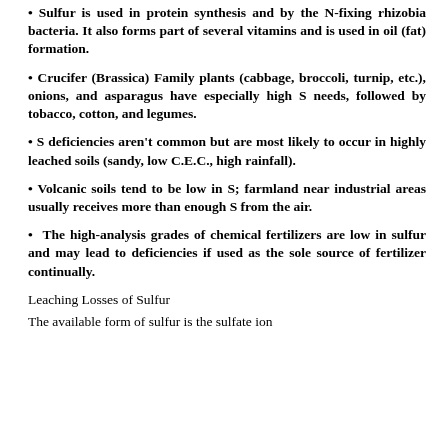Sulfur is used in protein synthesis and by the N-fixing rhizobia bacteria. It also forms part of several vitamins and is used in oil (fat) formation.
Crucifer (Brassica) Family plants (cabbage, broccoli, turnip, etc.), onions, and asparagus have especially high S needs, followed by tobacco, cotton, and legumes.
S deficiencies aren't common but are most likely to occur in highly leached soils (sandy, low C.E.C., high rainfall).
Volcanic soils tend to be low in S; farmland near industrial areas usually receives more than enough S from the air.
The high-analysis grades of chemical fertilizers are low in sulfur and may lead to deficiencies if used as the sole source of fertilizer continually.
Leaching Losses of Sulfur
The available form of sulfur is the sulfate ion